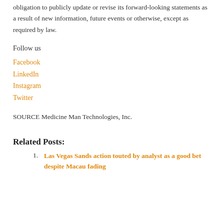obligation to publicly update or revise its forward-looking statements as a result of new information, future events or otherwise, except as required by law.
Follow us
Facebook
LinkedIn
Instagram
Twitter
SOURCE Medicine Man Technologies, Inc.
Related Posts:
Las Vegas Sands action touted by analyst as a good bet despite Macau fading